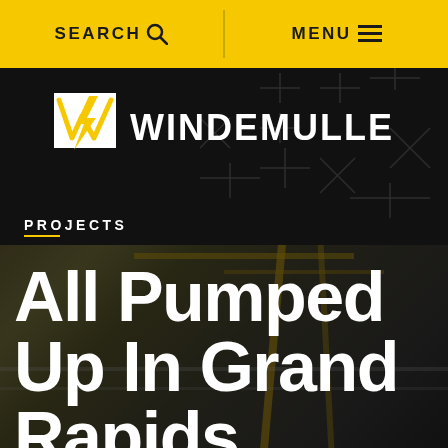SEARCH   MENU
[Figure (logo): Windemuller logo: white lightning bolt W mark followed by WINDEMULLER in white capital letters on dark background]
PROJECTS
[Figure (photo): Industrial facility interior showing overhead crane, yellow structural elements, pipes and equipment in a warehouse/plant setting with dark overlay]
All Pumped Up In Grand Rapids